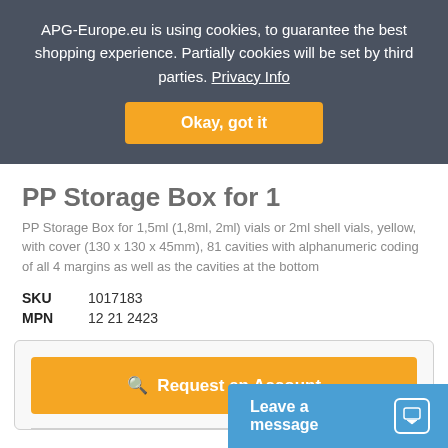APG-Europe.eu is using cookies, to guarantee the best shopping experience. Partially cookies will be set by third parties. Privacy Info
Okay, got it
PP Storage Box for 1
PP Storage Box for 1,5ml (1,8ml, 2ml) vials or 2ml shell vials, yellow, with cover (130 x 130 x 45mm), 81 cavities with alphanumeric coding of all 4 margins as well as the cavities at the bottom
| SKU | 1017183 |
| MPN | 12 21 2423 |
Request an Account
Leave a message